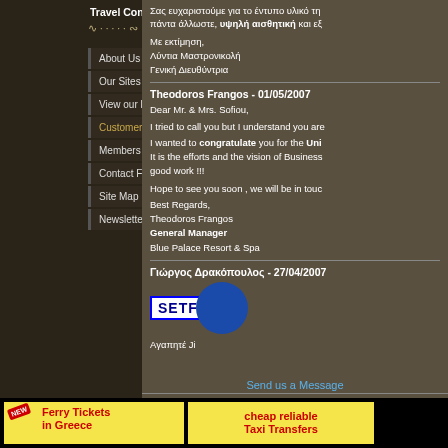Travel Converters
About Us
Our Sites
View our brochures online
Customer Comments
Members Area
Contact Form
Site Map
Newsletter
Σας ευχαριστούμε για το έντυπο υλικό τη... πάντα άλλωστε, υψηλή αισθητική και εξ...
Με εκτίμηση,
Λύντια Μαστρονικολή
Γενική Διευθύντρια
Theodoros Frangos - 01/05/2007
Dear Mr. & Mrs. Sofiou,
I tried to call you but I understand you are...
I wanted to congratulate you for the Uni... It is the efforts and the vision of Business... good work !!!
Hope to see you soon , we will be in touc...
Best Regards,
Theodoros Frangos
General Manager
Blue Palace Resort & Spa
Γιώργος Δρακόπουλος - 27/04/2007
[Figure (logo): SETF logo with blue circle overlay]
Αγαπητέ Ji...
Send us a Message
[Figure (infographic): Ferry Tickets in Greece banner with NEW badge]
[Figure (infographic): cheap reliable Taxi Transfers banner]